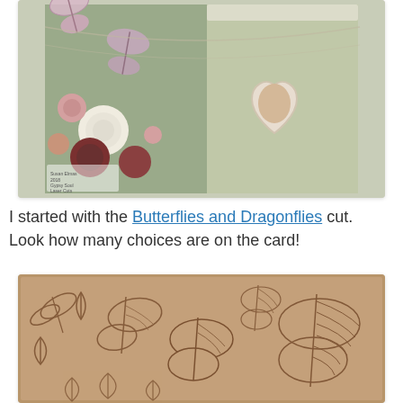[Figure (photo): A decorative handmade greeting card displayed at an angle, featuring butterfly die-cuts, paper flowers in shades of pink, white, and dark red, a heart-shaped frame with a vintage portrait, and a lace-decorated background with floral patterned paper. A small stamp in the bottom-left corner reads 'Susan Elmas 2018 Gypsy Soul Laser Cuts Education Team'.]
I started with the Butterflies and Dragonflies cut.  Look how many choices are on the card!
[Figure (photo): A tan/kraft cardboard sheet with laser-cut outlines of various butterflies, dragonflies, and decorative leaf/wing shapes. The cuts show silhouettes and intricate detail lines throughout the card.]